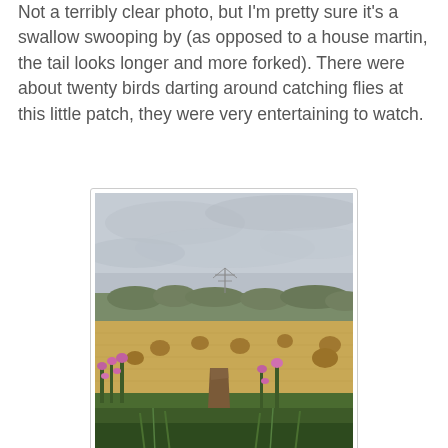Not a terribly clear photo, but I'm pretty sure it's a swallow swooping by (as opposed to a house martin, the tail looks longer and more forked). There were about twenty birds darting around catching flies at this little patch, they were very entertaining to watch.
[Figure (photo): A countryside landscape photograph showing a harvested field with round hay bales scattered across it, rolling hills and trees in the background under an overcast grey sky, with a leaning wooden fence post in the foreground surrounded by pink wildflowers (fireweed) and green grass.]